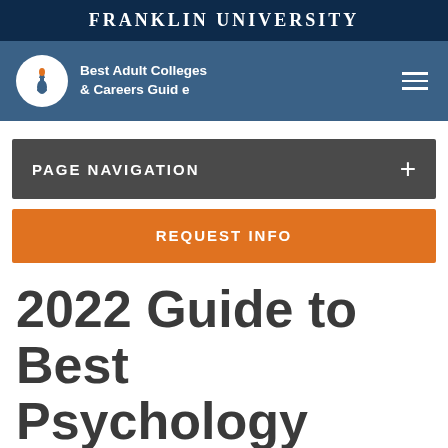FRANKLIN UNIVERSITY
[Figure (logo): Franklin University Best Adult Colleges & Careers Guide logo with torch icon and hamburger menu]
PAGE NAVIGATION +
REQUEST INFO
2022 Guide to Best Psychology Degrees Near North